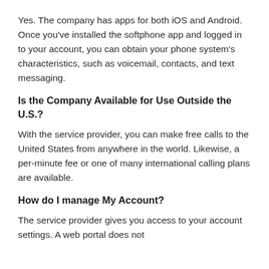Yes. The company has apps for both iOS and Android. Once you've installed the softphone app and logged in to your account, you can obtain your phone system's characteristics, such as voicemail, contacts, and text messaging.
Is the Company Available for Use Outside the U.S.?
With the service provider, you can make free calls to the United States from anywhere in the world. Likewise, a per-minute fee or one of many international calling plans are available.
How do I manage My Account?
The service provider gives you access to your account settings. A web portal does not